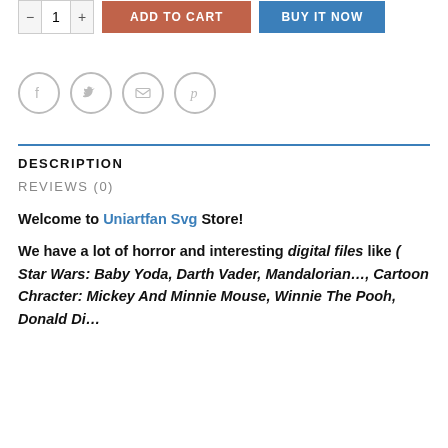[Figure (screenshot): E-commerce product page partial view with quantity selector, ADD TO CART button, BUY IT NOW button, social share icons (Facebook, Twitter, Email, Pinterest), a blue divider line, DESCRIPTION and REVIEWS (0) tabs, and product description text.]
DESCRIPTION
REVIEWS (0)
Welcome to Uniartfan Svg Store!
We have a lot of horror and interesting digital files like ( Star Wars: Baby Yoda, Darth Vader, Mandalorian…, Cartoon Chracter: Mickey And Minnie Mouse, Winnie The Pooh, Donald Di…